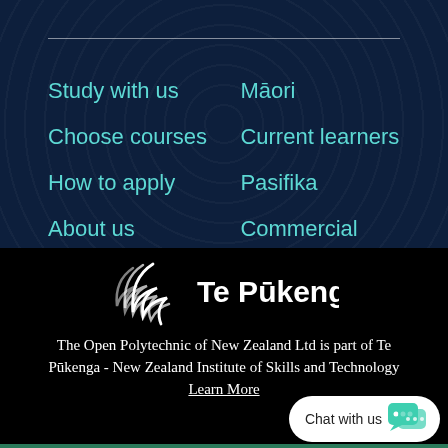Study with us
Māori
Choose courses
Current learners
How to apply
Pasifika
About us
Commercial
[Figure (logo): Te Pūkenga logo — stylized white feather/wing icon with text 'Te Pūkenga' in white]
The Open Polytechnic of New Zealand Ltd is part of Te Pūkenga - New Zealand Institute of Skills and Technology
Learn More